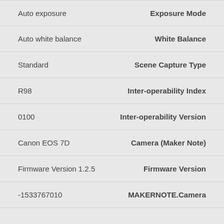| Value | Label |
| --- | --- |
| Auto exposure | Exposure Mode |
| Auto white balance | White Balance |
| Standard | Scene Capture Type |
| R98 | Inter-operability Index |
| 0100 | Inter-operability Version |
| Canon EOS 7D | Camera (Maker Note) |
| Firmware Version 1.2.5 | Firmware Version |
| -1533767010 | MAKERNOTE.Camera |